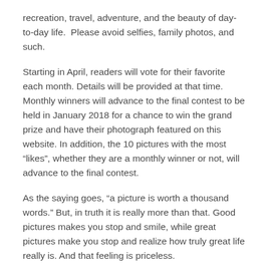recreation, travel, adventure, and the beauty of day-to-day life.  Please avoid selfies, family photos, and such.
Starting in April, readers will vote for their favorite each month. Details will be provided at that time. Monthly winners will advance to the final contest to be held in January 2018 for a chance to win the grand prize and have their photograph featured on this website. In addition, the 10 pictures with the most “likes”, whether they are a monthly winner or not, will advance to the final contest.
As the saying goes, “a picture is worth a thousand words.” But, in truth it is really more than that. Good pictures makes you stop and smile, while great pictures make you stop and realize how truly great life really is. And that feeling is priceless.
Stay tuned to get your regular dose of that peaceful feeling.